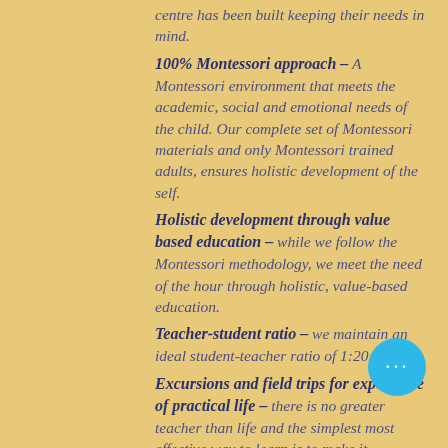centre has been built keeping their needs in mind.
100% Montessori approach – A Montessori environment that meets the academic, social and emotional needs of the child. Our complete set of Montessori materials and only Montessori trained adults, ensures holistic development of the self.
Holistic development through value based education – while we follow the Montessori methodology, we meet the need of the hour through holistic, value-based education.
Teacher-student ratio – we maintain an ideal student-teacher ratio of 1:20.
Excursions and field trips for experience of practical life – there is no greater teacher than life and the simplest most effective way to learn is to make it